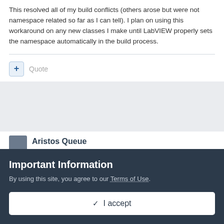This resolved all of my build conflicts (others arose but were not namespace related so far as I can tell). I plan on using this workaround on any new classes I make until LabVIEW properly sets the namespace automatically in the build process.
Quote
Aristos Queue
Important Information
By using this site, you agree to our Terms of Use.
✓ I accept